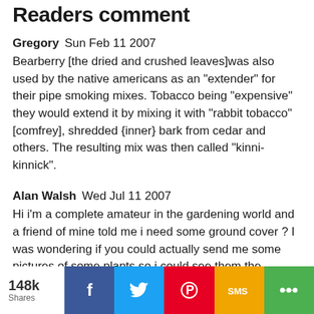Readers comment
Gregory  Sun Feb 11 2007
Bearberry [the dried and crushed leaves]was also used by the native americans as an "extender" for their pipe smoking mixes. Tobacco being "expensive" they would extend it by mixing it with "rabbit tobacco" [comfrey], shredded {inner} bark from cedar and others. The resulting mix was then called "kinni-kinnick".
Alan Walsh  Wed Jul 11 2007
Hi i'm a complete amateur in the gardening world and a friend of mine told me i need some ground cover ? I was wondering if you could actually send me some pictures of some plants so i could see them the location is in a sunny spot and has a palm tree in the centre of it . I really
148k Shares  [social share buttons: Facebook, Twitter, Pinterest, SMS, Other]